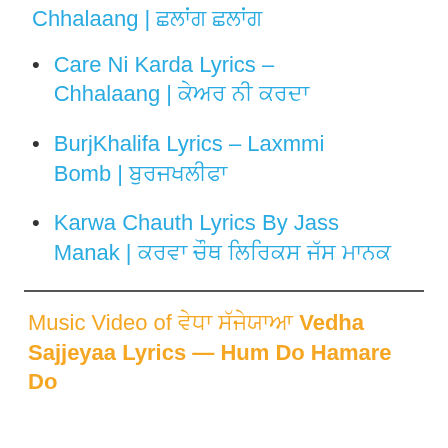Care Ni Karda Lyrics – Chhalaang | ਕੇਅਰ ਨੀ ਕਰਦਾ
BurjKhalifa Lyrics – Laxmmi Bomb | ਬੁਰਜਖਲੀਫਾ
Karwa Chauth Lyrics By Jass Manak | ਕਰਵਾ ਚੌਥ ਲਿਰਿਕਸ ਜੱਸ ਮਾਨਕ
Music Video of ਵੇਧਾ ਸੱਜੇਯਾਆ Vedha Sajjeyaa Lyrics — Hum Do Hamare Do